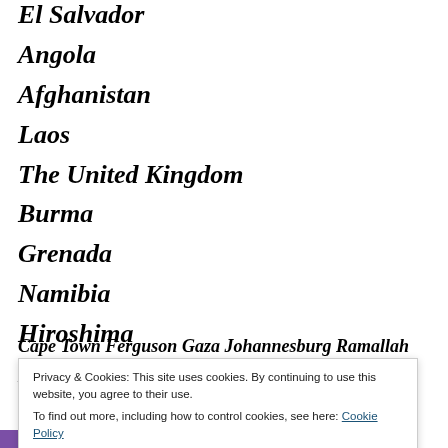El Salvador
Angola
Afghanistan
Laos
The United Kingdom
Burma
Grenada
Namibia
Hiroshima
Nagasaki
Cape Town Ferguson Gaza Johannesburg Ramallah
Privacy & Cookies: This site uses cookies. By continuing to use this website, you agree to their use.
To find out more, including how to control cookies, see here: Cookie Policy
Close and accept
Advertisements